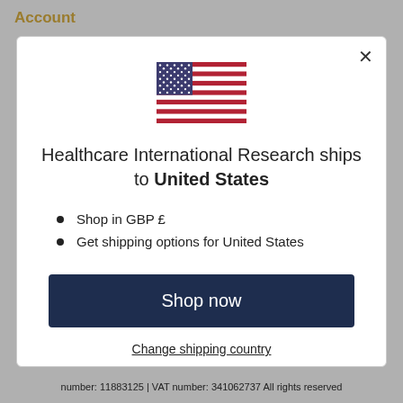Account
[Figure (illustration): US flag (stars and stripes)]
Healthcare International Research ships to United States
Shop in GBP £
Get shipping options for United States
Shop now
Change shipping country
number: 11883125 | VAT number: 341062737 All rights reserved